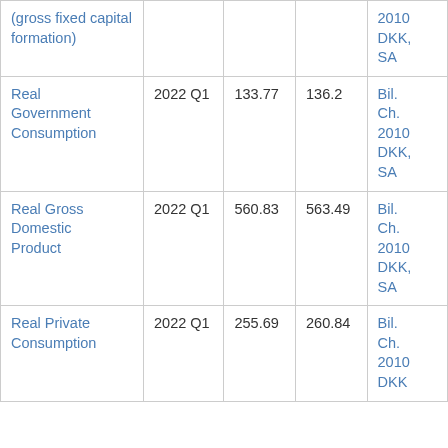| Indicator | Period | Value | Previous | Unit |
| --- | --- | --- | --- | --- |
| (gross fixed capital formation) |  |  |  | 2010 DKK, SA |
| Real Government Consumption | 2022 Q1 | 133.77 | 136.2 | Bil. Ch. 2010 DKK, SA |
| Real Gross Domestic Product | 2022 Q1 | 560.83 | 563.49 | Bil. Ch. 2010 DKK, SA |
| Real Private Consumption | 2022 Q1 | 255.69 | 260.84 | Bil. Ch. 2010 DKK, |